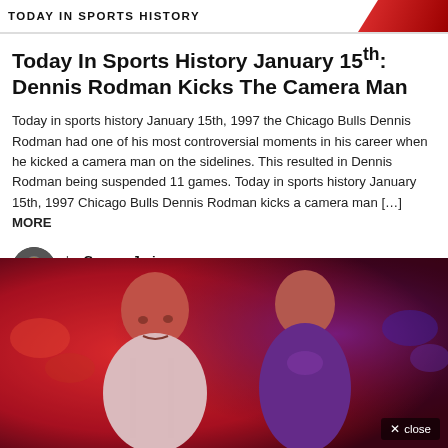TODAY IN SPORTS HISTORY
Today In Sports History January 15th: Dennis Rodman Kicks The Camera Man
Today in sports history January 15th, 1997 the Chicago Bulls Dennis Rodman had one of his most controversial moments in his career when he kicked a camera man on the sidelines. This resulted in Dennis Rodman being suspended 11 games. Today in sports history January 15th, 1997 Chicago Bulls Dennis Rodman kicks a camera man [...] MORE
by George Jarjour
2 years ago
[Figure (photo): Two basketball players face each other on a court, rendered with red and purple lighting effects. One player wears a white jersey.]